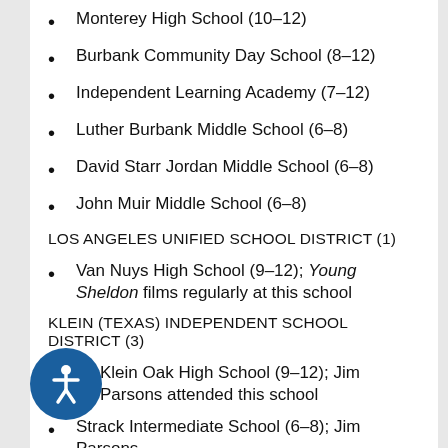Monterey High School (10–12)
Burbank Community Day School (8–12)
Independent Learning Academy (7–12)
Luther Burbank Middle School (6–8)
David Starr Jordan Middle School (6–8)
John Muir Middle School (6–8)
LOS ANGELES UNIFIED SCHOOL DISTRICT (1)
Van Nuys High School (9–12); Young Sheldon films regularly at this school
KLEIN (TEXAS) INDEPENDENT SCHOOL DISTRICT (3)
Klein Oak High School (9–12); Jim Parsons attended this school
Strack Intermediate School (6–8); Jim Parsons